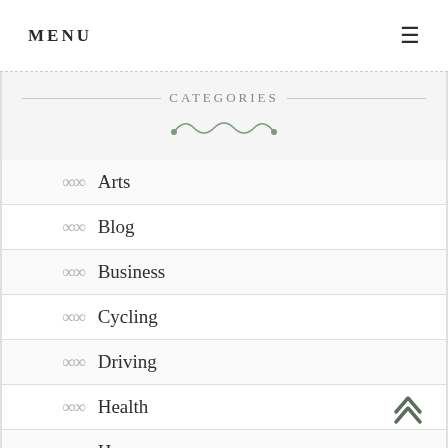MENU
CATEGORIES
Arts
Blog
Business
Cycling
Driving
Health
Home